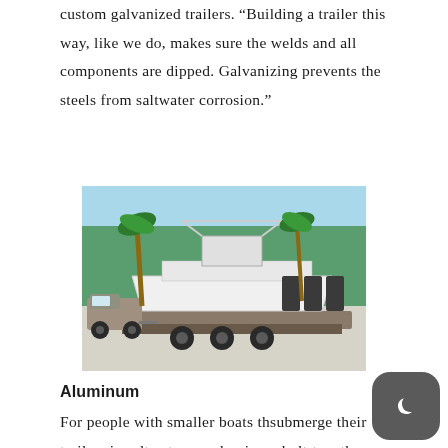custom galvanized trailers. “Building a trailer this way, like we do, makes sure the welds and all components are dipped. Galvanizing prevents the steels from saltwater corrosion.”
[Figure (photo): A large white center-console boat with triple outboard engines being towed on a galvanized trailer by a pickup truck, with palm trees in the background.]
Aluminum
For people with smaller boats th submerge their trailers in saltwater, an aluminum bolt-together-style